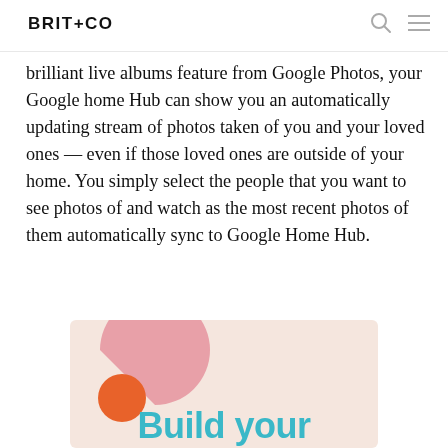BRIT+CO
brilliant live albums feature from Google Photos, your Google home Hub can show you an automatically updating stream of photos taken of you and your loved ones — even if those loved ones are outside of your home. You simply select the people that you want to see photos of and watch as the most recent photos of them automatically sync to Google Home Hub.
[Figure (illustration): Advertisement banner with pink/peach background, decorative shapes (pink arc, orange circle), and teal bold text reading 'Build your']